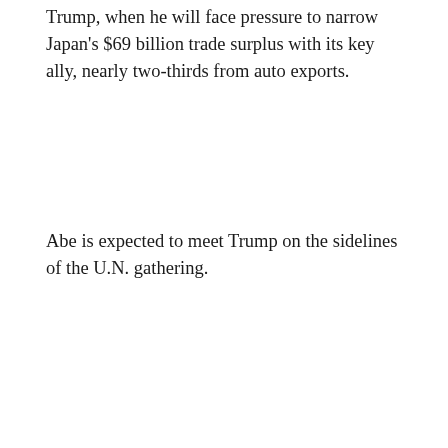Trump, when he will face pressure to narrow Japan's $69 billion trade surplus with its key ally, nearly two-thirds from auto exports.
Abe is expected to meet Trump on the sidelines of the U.N. gathering.